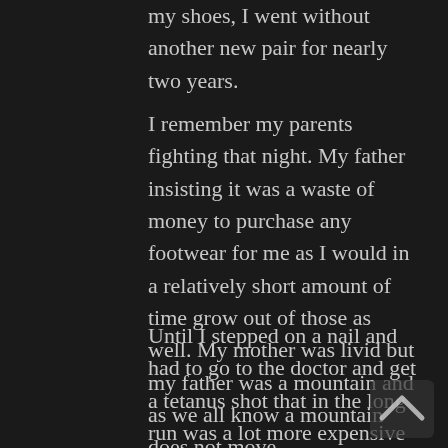my shoes, I went without another new pair for nearly two years.
I remember my parents fighting that night. My father insisting it was a waste of money to purchase any footwear for me as I would in a relatively short amount of time grow out of those as well. My mother was livid but my father was a mountain and as we all know a mountain does not move.
Until I stepped on a nail and had to go to the doctor and get a tetanus shot that in the long run was a lot more expensive than a new pair of tennis shoes (sneakers). I do not know how we paid for the doctor's visit. I do remember my father asking if the bottle of antibiotic